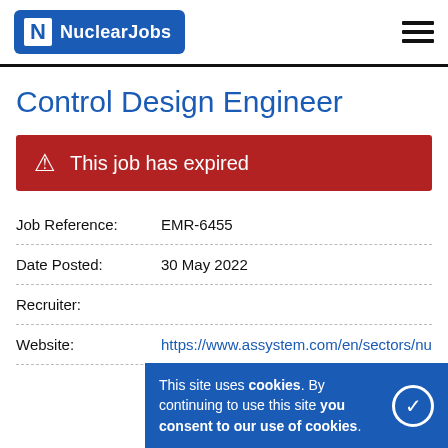NuclearJobs
Control Design Engineer
This job has expired
| Field | Value |
| --- | --- |
| Job Reference: | EMR-6455 |
| Date Posted: | 30 May 2022 |
| Recruiter: |  |
| Website: | https://www.assystem.com/en/sectors/nu...lear/ |
This site uses cookies. By continuing to use this site you consent to our use of cookies.